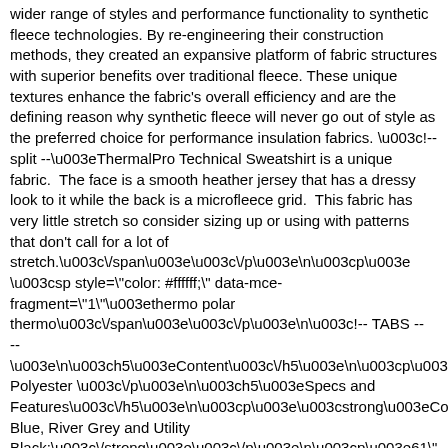wider range of styles and performance functionality to synthetic fleece technologies. By re-engineering their construction methods, they created an expansive platform of fabric structures with superior benefits over traditional fleece. These unique textures enhance the fabric's overall efficiency and are the defining reason why synthetic fleece will never go out of style as the preferred choice for performance insulation fabrics. \u003c!-- split --\u003eThermalPro Technical Sweatshirt is a unique fabric.  The face is a smooth heather jersey that has a dressy look to it while the back is a microfleece grid.  This fabric has very little stretch so consider sizing up or using with patterns that don't call for a lot of stretch.\u003c\/span\u003e\u003c\/p\u003e\n\u003cp\u003e \u003csp style=\"color: #ffffff;\" data-mce-fragment=\"1\"\u003ethermo polar thermo\u003c\/span\u003e\u003c\/p\u003e\n\u003c!-- TABS -- \u003e\n\u003ch5\u003eContent\u003c\/h5\u003e\n\u003cp\u003e10 Polyester \u003c\/p\u003e\n\u003ch5\u003eSpecs and Features\u003c\/h5\u003e\n\u003cp\u003e\u003cstrong\u003eCowb Blue, River Grey and Utility Black:\u003c\/strong\u003e\u003c\/p\u003e\n\u003cp\u003e61\" wide\u003c\/p\u003e\n\u003cp\u003e7.9 oz\/sq yd or 268 gsm \u003c\/p\u003e\n\u003cp\u003e4-way stretch: \u003c\/p\u003e\n\u003cp\u003e20% side-to-side   10% lengthwise \u003c\/p\u003e\n\u003cp\u003e\u003cspan\u003eCertif Standard 100 by OEKO-TEK®\u003c\/span\u003e\u003c\/p\u003e\n\u003cp\u003e\u003cst